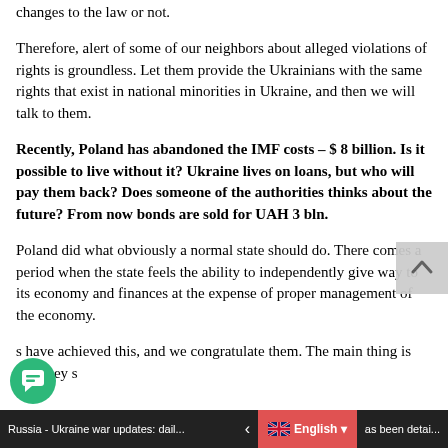changes to the law or not.
Therefore, alert of some of our neighbors about alleged violations of rights is groundless. Let them provide the Ukrainians with the same rights that exist in national minorities in Ukraine, and then we will talk to them.
Recently, Poland has abandoned the IMF costs – $ 8 billion. Is it possible to live without it? Ukraine lives on loans, but who will pay them back? Does someone of the authorities thinks about the future? From now bonds are sold for UAH 3 bln.
Poland did what obviously a normal state should do. There comes a period when the state feels the ability to independently give way to its economy and finances at the expense of proper management of the economy.
s have achieved this, and we congratulate them. The main thing is that they s
Russia - Ukraine war updates: dail... | English ▾ | as been detai...